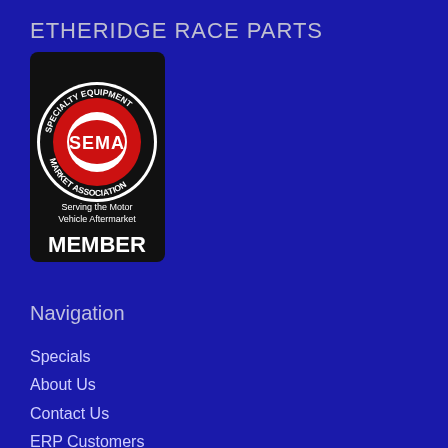ETHERIDGE RACE PARTS
[Figure (logo): SEMA - Specialty Equipment Market Association logo with text 'Serving the Motor Vehicle Aftermarket' and 'MEMBER' at the bottom. Black background with red circular logo.]
Navigation
Specials
About Us
Contact Us
ERP Customers
Trackside